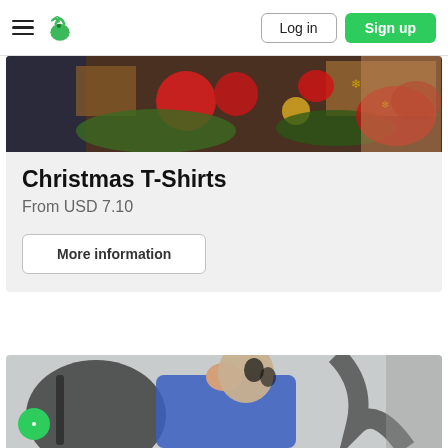Log in | Sign up
[Figure (photo): Christmas decorations photo showing ornaments, poinsettias and gifts]
Christmas T-Shirts
From USD 7.10
More information
[Figure (photo): Man wearing blue t-shirt with skull face paint, partial view]